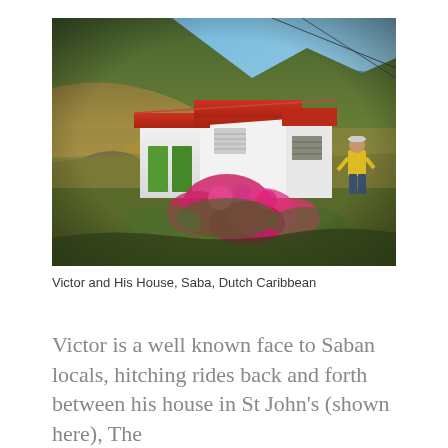[Figure (photo): A white cottage with a red corrugated metal roof nestled into a steep green hillside on the island of Saba, Dutch Caribbean. Pink bougainvillea blooms in the foreground. A man in a yellow t-shirt and hat stands near the house. Blue ocean and sky visible in the upper right background.]
Victor and His House, Saba, Dutch Caribbean
Victor is a well known face to Saban locals, hitching rides back and forth between his house in St John's (shown here), The